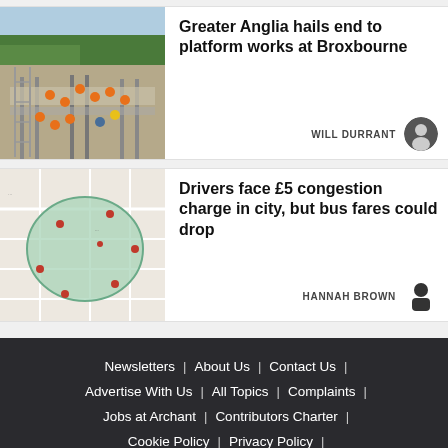[Figure (photo): Aerial view of railway platform construction works at Broxbourne with workers in high-visibility vests]
Greater Anglia hails end to platform works at Broxbourne
WILL DURRANT
[Figure (map): Map showing a city area with a green congestion charge zone boundary]
Drivers face £5 congestion charge in city, but bus fares could drop
HANNAH BROWN
Newsletters | About Us | Contact Us | Advertise With Us | All Topics | Complaints | Jobs at Archant | Contributors Charter | Cookie Policy | Privacy Policy |